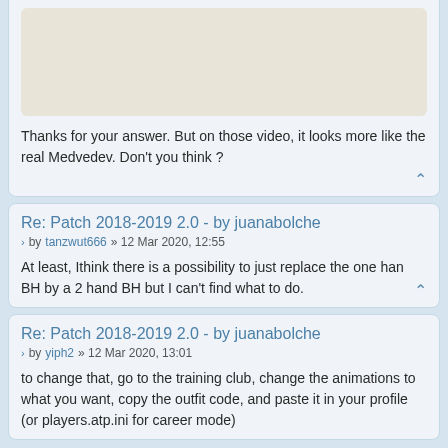[Figure (other): Beige/tan colored rectangular image placeholder at the top of the first post card]
Thanks for your answer. But on those video, it looks more like the real Medvedev. Don't you think ?
Re: Patch 2018-2019 2.0 - by juanabolche
by tanzwut666 » 12 Mar 2020, 12:55
At least, Ithink there is a possibility to just replace the one han BH by a 2 hand BH but I can't find what to do.
Re: Patch 2018-2019 2.0 - by juanabolche
by yiph2 » 12 Mar 2020, 13:01
to change that, go to the training club, change the animations to what you want, copy the outfit code, and paste it in your profile (or players.atp.ini for career mode)